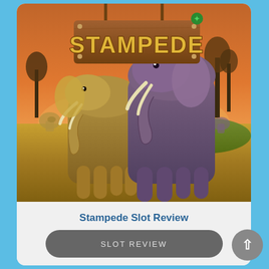[Figure (illustration): Stampede slot game artwork showing two elephants in an African savanna with sunset sky, trees, and the word STAMPEDE on a wooden sign at the top]
Stampede Slot Review
SLOT REVIEW